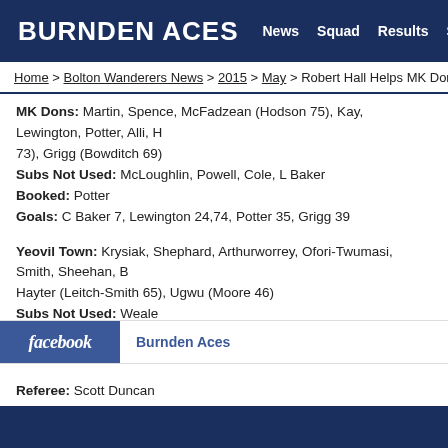BURNDEN ACES  News  Squad  Results  Standings
Home > Bolton Wanderers News > 2015 > May > Robert Hall Helps MK Dons to Pr...
MK Dons: Martin, Spence, McFadzean (Hodson 75), Kay, Lewington, Potter, Alli, H... 73), Grigg (Bowditch 69)
Subs Not Used: McLoughlin, Powell, Cole, L Baker
Booked: Potter
Goals: C Baker 7, Lewington 24,74, Potter 35, Grigg 39
Yeovil Town: Krysiak, Shephard, Arthurworrey, Ofori-Twumasi, Smith, Sheehan, B... Hayter (Leitch-Smith 65), Ugwu (Moore 46)
Subs Not Used: Weale
Booked: Arthurworrey
Goals: Spence 56(og)
Referee: Scott Duncan
Attendance: 16,965
facebook  Burnden Aces